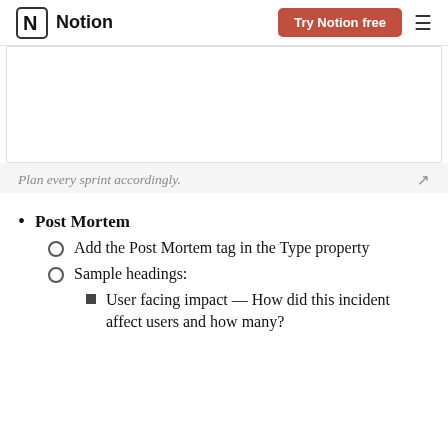Notion | Try Notion free
[Figure (screenshot): White rectangular placeholder image with border]
Plan every sprint accordingly.
Post Mortem
Add the Post Mortem tag in the Type property
Sample headings:
User facing impact — How did this incident affect users and how many?